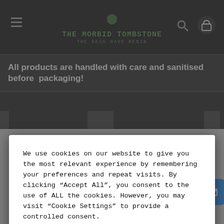THE MORBID TOMBSTONE - The Dead Have Resin
All products are handled with care and sanitised before packaging!
We use cookies on our website to give you the most relevant experience by remembering your preferences and repeat visits. By clicking “Accept All”, you consent to the use of ALL the cookies. However, you may visit “Cookie Settings” to provide a controlled consent.
Cookie Settings   Accept All
[Figure (screenshot): Social sharing icons bar: Facebook (blue), Pinterest (red), share count 0, Twitter (light blue), Tumblr (dark blue), WhatsApp (green), Email (blue), Copy link (blue), More (blue)]